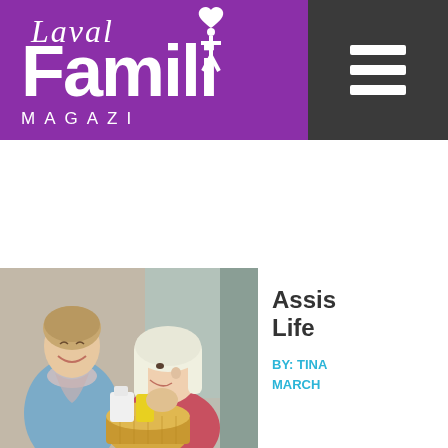[Figure (logo): Laval Famille Magazine logo on purple background with hamburger menu icon on dark grey background]
[Figure (photo): Two women smiling at each other at a doorway, one holding a wicker basket with groceries including milk and other items]
Assis... Life ...
BY: TINA... MARCH ...